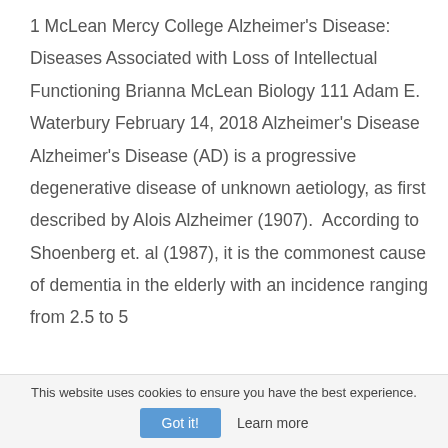1 McLean Mercy College Alzheimer's Disease: Diseases Associated with Loss of Intellectual Functioning Brianna McLean Biology 111 Adam E. Waterbury February 14, 2018 Alzheimer's Disease Alzheimer's Disease (AD) is a progressive degenerative disease of unknown aetiology, as first described by Alois Alzheimer (1907). According to Shoenberg et. al (1987), it is the commonest cause of dementia in the elderly with an incidence ranging from 2.5 to 5
This website uses cookies to ensure you have the best experience. Got it! Learn more